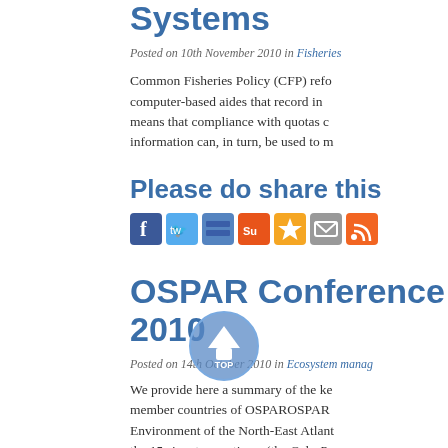Systems
Posted on 10th November 2010 in Fisheries
Common Fisheries Policy (CFP) refo… computer-based aides that record in… means that compliance with quotas c… information can, in turn, be used to m…
Please do share this
[Figure (infographic): Social sharing icons: Facebook, Twitter, Delicious, StumbleUpon, Bookmark star, Email, RSS]
OSPAR Conference 2010
Posted on 14th October 2010 in Ecosystem manag…
We provide here a summary of the ke… member countries of OSPAROSPAR… Environment of the North-East Atlant… the 15 signatory nations. (the Oslo-P… Atlantic) […]